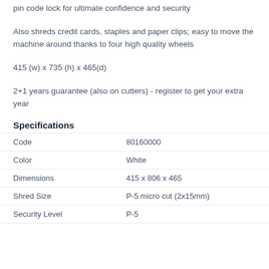pin code lock for ultimate confidence and security
Also shreds credit cards, staples and paper clips; easy to move the machine around thanks to four high quality wheels
415 (w) x 735 (h) x 465(d)
2+1 years guarantee (also on cutters) - register to get your extra year
Specifications
|  |  |
| --- | --- |
| Code | 80160000 |
| Color | White |
| Dimensions | 415 x 806 x 465 |
| Shred Size | P-5 micro cut (2x15mm) |
| Security Level | P-5 |